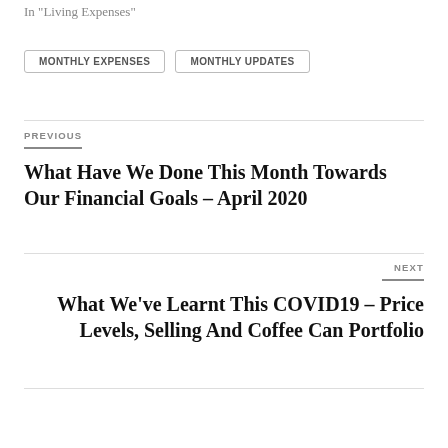In "Living Expenses"
MONTHLY EXPENSES   MONTHLY UPDATES
PREVIOUS
What Have We Done This Month Towards Our Financial Goals – April 2020
NEXT
What We've Learnt This COVID19 – Price Levels, Selling And Coffee Can Portfolio